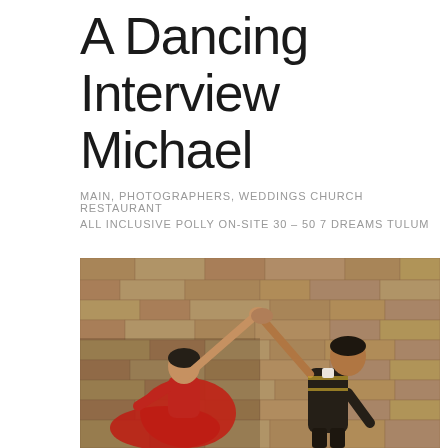A Dancing Interview Michael
MAIN, PHOTOGRAPHERS, WEDDINGS CHURCH RESTAURANT ALL INCLUSIVE POLLY ON-SITE 30 – 50 7 DREAMS TULUM
[Figure (photo): Two Mexican folk dancers against a stone wall background. A woman in a red dress and a man in a black charro outfit hold hands raised above their heads.]